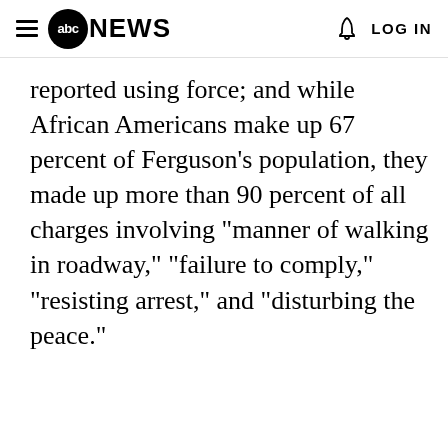abc NEWS  LOG IN
reported using force; and while African Americans make up 67 percent of Ferguson's population, they made up more than 90 percent of all charges involving "manner of walking in roadway," "failure to comply," "resisting arrest," and "disturbing the peace."